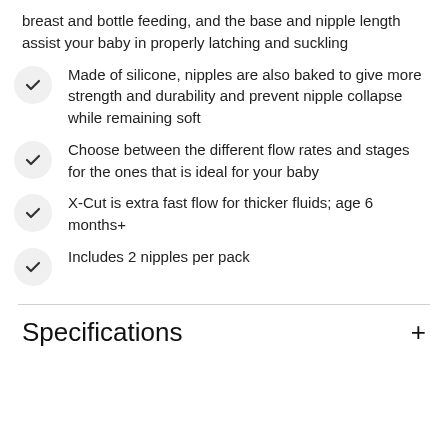breast and bottle feeding, and the base and nipple length assist your baby in properly latching and suckling
Made of silicone, nipples are also baked to give more strength and durability and prevent nipple collapse while remaining soft
Choose between the different flow rates and stages for the ones that is ideal for your baby
X-Cut is extra fast flow for thicker fluids; age 6 months+
Includes 2 nipples per pack
Specifications